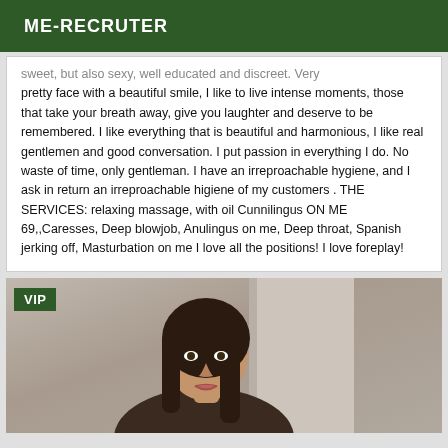ME-RECRUTER
sweet, but also sexy, well educated and discreet. Very pretty face with a beautiful smile, I like to live intense moments, those that take your breath away, give you laughter and deserve to be remembered. I like everything that is beautiful and harmonious, I like real gentlemen and good conversation. I put passion in everything I do. No waste of time, only gentleman. I have an irreproachable hygiene, and I ask in return an irreproachable higiene of my customers . THE SERVICES: relaxing massage, with oil Cunnilingus ON ME 69,,Caresses, Deep blowjob, Anulingus on me, Deep throat, Spanish jerking off, Masturbation on me I love all the positions! I love foreplay!
[Figure (photo): VIP badge in green over a portrait photo of a woman with dark hair, facing slightly to the side]